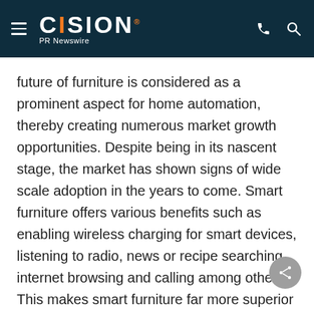CISION PR Newswire
future of furniture is considered as a prominent aspect for home automation, thereby creating numerous market growth opportunities. Despite being in its nascent stage, the market has shown signs of wide scale adoption in the years to come. Smart furniture offers various benefits such as enabling wireless charging for smart devices, listening to radio, news or recipe searching, internet browsing and calling among others. This makes smart furniture far more superior as compared to conventional furniture.
Changing lifestyle is one of the most prominent